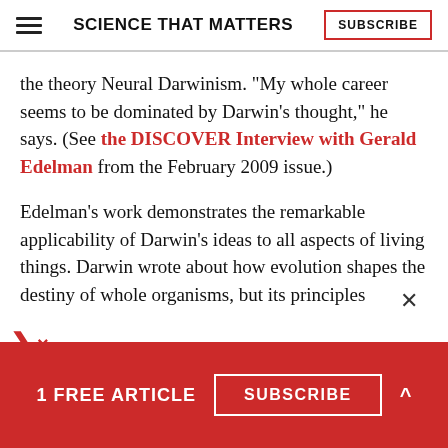SCIENCE THAT MATTERS | SUBSCRIBE
the theory Neural Darwinism. “My whole career seems to be dominated by Darwin’s thought,” he says. (See the DISCOVER Interview with Gerald Edelman from the February 2009 issue.)
Edelman’s work demonstrates the remarkable applicability of Darwin’s ideas to all aspects of living things. Darwin wrote about how evolution shapes the destiny of whole organisms, but its principles
1 FREE ARTICLE  SUBSCRIBE  ˄